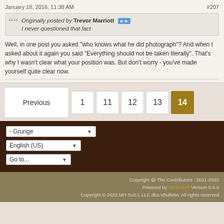January 18, 2016, 11:38 AM  #207
Originally posted by Trevor Marriott
I never questioned that fact
Well, in one post you asked "who knows what he did photograph"? And when I asked about it again you said "Everything should not be taken literally". That's why I wasn't clear what your position was. But don't worry - you've made yourself quite clear now.
Previous  1  11  12  13  14
- Grunge
English (US)
Go to...
Copyright @ The Contributors : 2021-2022
Powered by vBulletin® Version 5.6.9
Copyright © 2022 MH Sub I, LLC dba vBulletin. All rights reserved